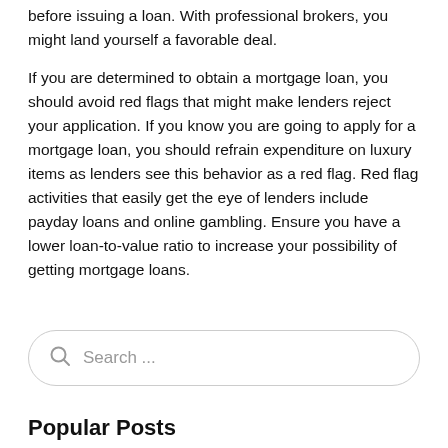before issuing a loan. With professional brokers, you might land yourself a favorable deal.
If you are determined to obtain a mortgage loan, you should avoid red flags that might make lenders reject your application. If you know you are going to apply for a mortgage loan, you should refrain expenditure on luxury items as lenders see this behavior as a red flag. Red flag activities that easily get the eye of lenders include payday loans and online gambling. Ensure you have a lower loan-to-value ratio to increase your possibility of getting mortgage loans.
[Figure (other): Search box with magnifying glass icon and placeholder text 'Search ...']
Popular Posts